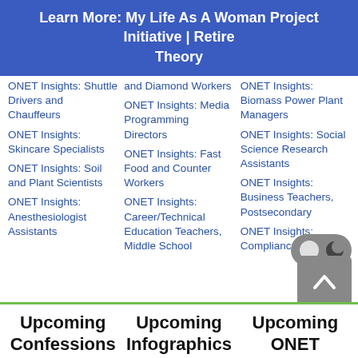Learn More: My Life As A Woman Project Initiative | Retire Theory
ONET Insights: Shuttle Drivers and Chauffeurs
ONET Insights: Skincare Specialists
ONET Insights: Soil and Plant Scientists
ONET Insights: Anesthesiologist Assistants
and Diamond Workers
ONET Insights: Media Programming Directors
ONET Insights: Fast Food and Counter Workers
ONET Insights: Career/Technical Education Teachers, Middle School
ONET Insights: Biomass Power Plant Managers
ONET Insights: Social Science Research Assistants
ONET Insights: Business Teachers, Postsecondary
ONET Insights: Compliance Managers
Upcoming Confessions   Upcoming Infographics   Upcoming ONET